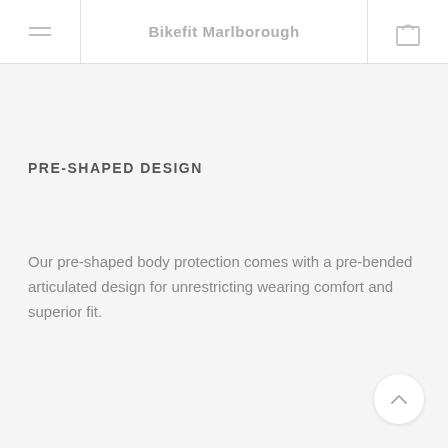Bikefit Marlborough
PRE-SHAPED DESIGN
Our pre-shaped body protection comes with a pre-bended articulated design for unrestricting wearing comfort and superior fit.